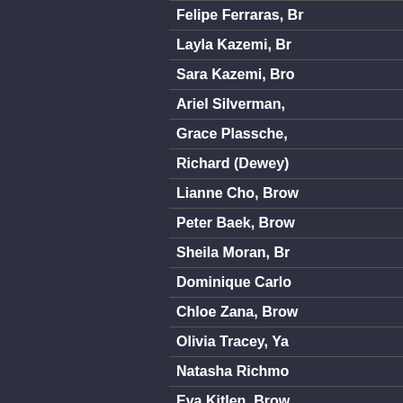Felipe Ferraras, Br...
Layla Kazemi, Br...
Sara Kazemi, Bro...
Ariel Silverman, ...
Grace Plassche, ...
Richard (Dewey)...
Lianne Cho, Brow...
Peter Baek, Brow...
Sheila Moran, Br...
Dominique Carlo...
Chloe Zana, Brow...
Olivia Tracey, Ya...
Natasha Richmo...
Eva Kitlen, Brow...
Gabriela Batista, ...
Melanie Anaya, B...
Noshin Nuzhat, B...
Lisa Schulmeye...